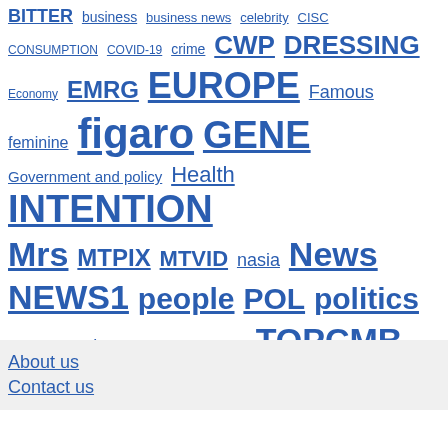BITTER business business news celebrity CISC CONSUMPTION COVID-19 crime CWP DRESSING Economy EMRG EUROPE Famous feminine figaro GENE Government and policy Health INTENTION Mrs MTPIX MTVID nasia News NEWS1 people POL politics PXP ru society star Technology TOPCMB TOPNUS TOPNWS U.S War WEU woman
About us
Contact us